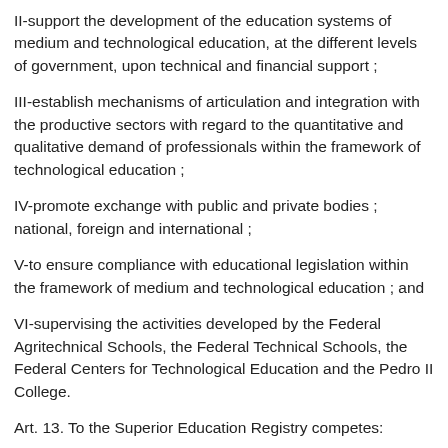II-support the development of the education systems of medium and technological education, at the different levels of government, upon technical and financial support ;
III-establish mechanisms of articulation and integration with the productive sectors with regard to the quantitative and qualitative demand of professionals within the framework of technological education ;
IV-promote exchange with public and private bodies ; national, foreign and international ;
V-to ensure compliance with educational legislation within the framework of medium and technological education ; and
VI-supervising the activities developed by the Federal Agritechnical Schools, the Federal Technical Schools, the Federal Centers for Technological Education and the Pedro II College.
Art. 13. To the Superior Education Registry competes:
I-plan, guide, coordinate and supervise the process of formulation and implementation of national higher education policy ;